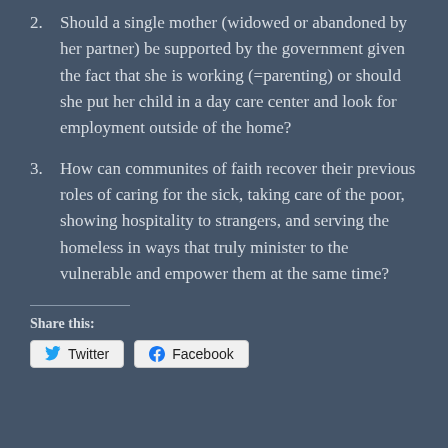2. Should a single mother (widowed or abandoned by her partner) be supported by the government given the fact that she is working (=parenting) or should she put her child in a day care center and look for employment outside of the home?
3. How can communites of faith recover their previous roles of caring for the sick, taking care of the poor, showing hospitality to strangers, and serving the homeless in ways that truly minister to the vulnerable and empower them at the same time?
Share this: